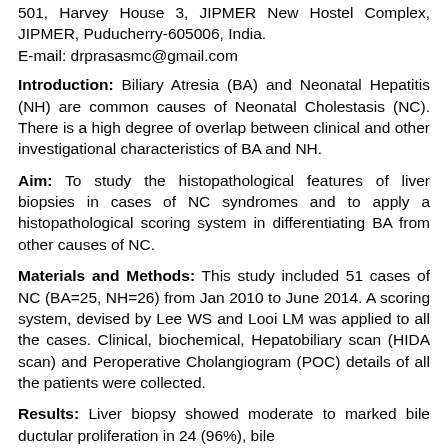501, Harvey House 3, JIPMER New Hostel Complex, JIPMER, Puducherry-605006, India.
E-mail: drprasasmc@gmail.com
Introduction: Biliary Atresia (BA) and Neonatal Hepatitis (NH) are common causes of Neonatal Cholestasis (NC). There is a high degree of overlap between clinical and other investigational characteristics of BA and NH.
Aim: To study the histopathological features of liver biopsies in cases of NC syndromes and to apply a histopathological scoring system in differentiating BA from other causes of NC.
Materials and Methods: This study included 51 cases of NC (BA=25, NH=26) from Jan 2010 to June 2014. A scoring system, devised by Lee WS and Looi LM was applied to all the cases. Clinical, biochemical, Hepatobiliary scan (HIDA scan) and Peroperative Cholangiogram (POC) details of all the patients were collected.
Results: Liver biopsy showed moderate to marked bile ductular proliferation in 24 (96%), bile